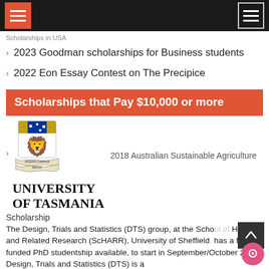[Navigation header with hamburger menus]
Scholarships in USA
2023 Goodman scholarships for Business students
2022 Eon Essay Contest on The Precipice
Scholarships that Pay $10,000 or more
[Figure (logo): University of Tasmania coat of arms logo with shield, lion, and banner reading INGENII CAMPUS PATVIT]
2018 Australian Sustainable Agriculture
UNIVERSITY OF TASMANIA
Scholarship
The Design, Trials and Statistics (DTS) group, at the School of Health and Related Research (ScHARR), University of Sheffield, has a fully funded PhD studentship available, to start in September/October 2013. Design, Trials and Statistics (DTS) is a